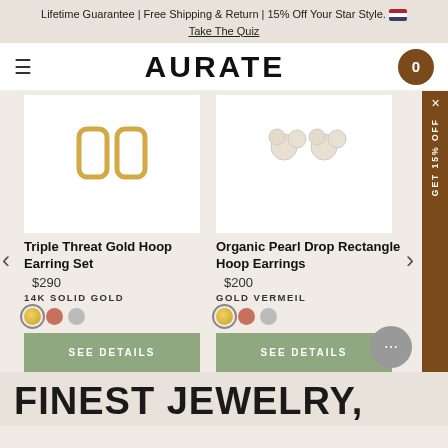Lifetime Guarantee | Free Shipping & Return | 15% Off Your Star Style. Take The Quiz
AURATE
[Figure (photo): Triple Threat Gold Hoop Earring Set product image - rectangular gold hoop earrings on white background]
Triple Threat Gold Hoop Earring Set
$290
14K SOLID GOLD
[Figure (photo): Organic Pearl Drop Rectangle Hoop Earrings product image - pearl drop hoop earrings on white background]
Organic Pearl Drop Rectangle Hoop Earrings
$200
GOLD VERMEIL
SEE DETAILS
SEE DETAILS
FINEST JEWELRY,